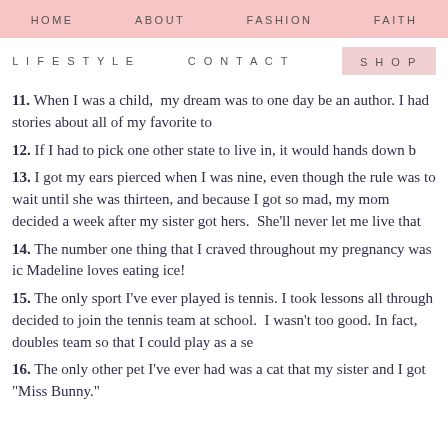HOME   ABOUT   FASHION   FAITH
LIFESTYLE   CONTACT   SHOP
11. When I was a child,  my dream was to one day be an author. I had stories about all of my favorite to
12. If I had to pick one other state to live in, it would hands down b
13. I got my ears pierced when I was nine, even though the rule was to wait until she was thirteen, and because I got so mad, my mom decided a week after my sister got hers.  She'll never let me live that
14. The number one thing that I craved throughout my pregnancy was ic Madeline loves eating ice!
15. The only sport I've ever played is tennis. I took lessons all through decided to join the tennis team at school.  I wasn't too good. In fact, doubles team so that I could play as a se
16. The only other pet I've ever had was a cat that my sister and I got "Miss Bunny."